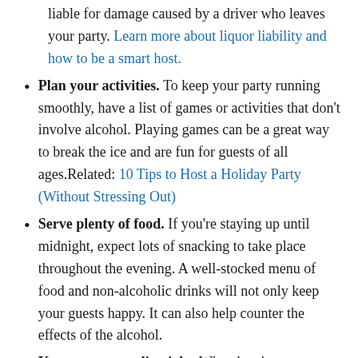liable for damage caused by a driver who leaves your party. Learn more about liquor liability and how to be a smart host.
Plan your activities. To keep your party running smoothly, have a list of games or activities that don't involve alcohol. Playing games can be a great way to break the ice and are fun for guests of all ages.Related: 10 Tips to Host a Holiday Party (Without Stressing Out)
Serve plenty of food. If you're staying up until midnight, expect lots of snacking to take place throughout the evening. A well-stocked menu of food and non-alcoholic drinks will not only keep your guests happy. It can also help counter the effects of the alcohol.
Keep your guest list tight. When hosting a